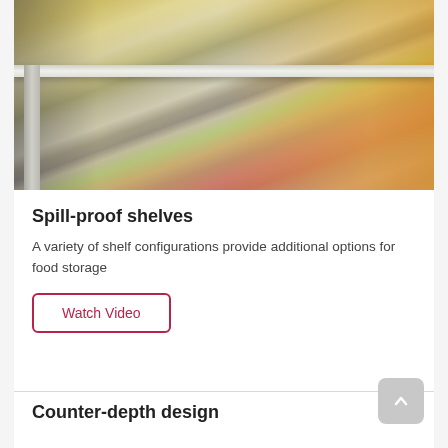[Figure (photo): Close-up photo of refrigerator interior showing spill-proof shelves with food containers — yellow containers on top shelf, red/pink food items in plastic bag on lower shelf, stainless steel refrigerator wall visible]
Spill-proof shelves
A variety of shelf configurations provide additional options for food storage
Watch Video
Counter-depth design